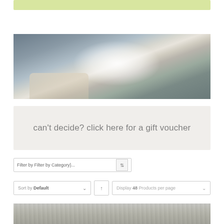[Figure (other): Light green horizontal banner at top of page]
[Figure (photo): Chef in white jacket tossing/stretching dough with flour dust cloud, grey background]
can't decide? click here for a gift voucher
Filter by Filter by Category}...
Sort by Default
Display 48 Products per page
[Figure (photo): Bottom portion of a textured grey/white surface, partially visible]